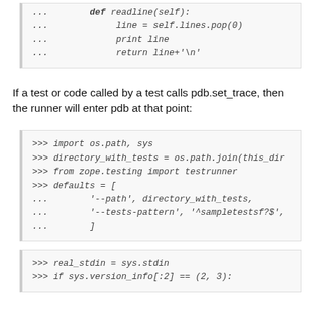[Figure (screenshot): Code block showing Python readline method definition with self.lines.pop(0), print line, and return line+'\n']
If a test or code called by a test calls pdb.set_trace, then the runner will enter pdb at that point:
[Figure (screenshot): Code block showing Python interactive session: import os.path sys, directory_with_tests = os.path.join(this_dir..., from zope.testing import testrunner, defaults = ['--path', directory_with_tests, '--tests-pattern', '^sampletestsf?$', ]]
[Figure (screenshot): Code block showing: >>> real_stdin = sys.stdin, >>> if sys.version_info[:2] == (2, 3):]